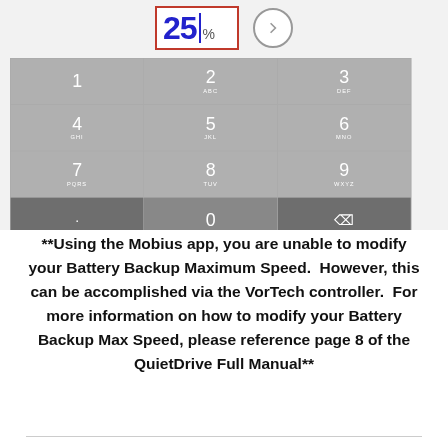[Figure (screenshot): iOS numeric keypad UI showing a 25% value in a red-bordered input field with a blue cursor, and a circular arrow button to the right. Below is a standard iOS phone keypad with keys 1-9, *, 0, and a backspace key.]
**Using the Mobius app, you are unable to modify your Battery Backup Maximum Speed.  However, this can be accomplished via the VorTech controller.  For more information on how to modify your Battery Backup Max Speed, please reference page 8 of the QuietDrive Full Manual**